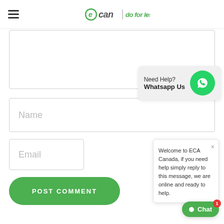ecan | do for less
[Figure (screenshot): Comment form text area (empty)]
[Figure (infographic): WhatsApp help bubble: Need Help? Whatsapp Us]
[Figure (screenshot): Name input field placeholder]
[Figure (screenshot): Email input field placeholder]
[Figure (screenshot): POST COMMENT green button]
Welcome to ECA Canada, if you need help simply reply to this message, we are online and ready to help.
[Figure (screenshot): Chat button with badge count 1]